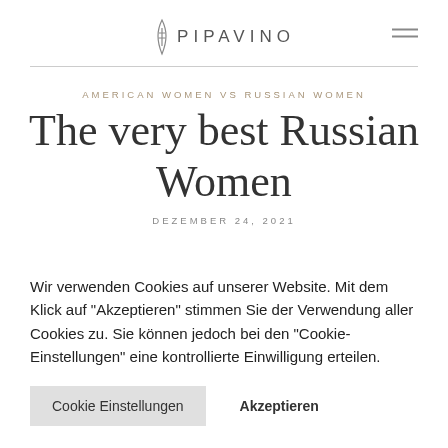PIPAVINO
AMERICAN WOMEN VS RUSSIAN WOMEN
The very best Russian Women
DEZEMBER 24, 2021
Wir verwenden Cookies auf unserer Website. Mit dem Klick auf "Akzeptieren" stimmen Sie der Verwendung aller Cookies zu. Sie können jedoch bei den "Cookie-Einstellungen" eine kontrollierte Einwilligung erteilen.
Cookie Einstellungen   Akzeptieren